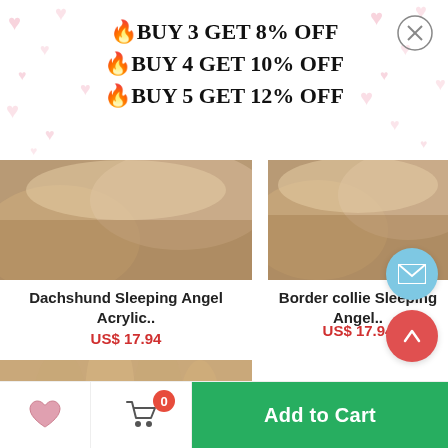🔥BUY 3 GET 8% OFF
🔥BUY 4 GET 10% OFF
🔥BUY 5 GET 12% OFF
[Figure (photo): Close-up of a hand holding a Dachshund Sleeping Angel Acrylic keychain]
Dachshund Sleeping Angel Acrylic..
US$ 17.94
[Figure (photo): Close-up of a hand holding a Border Collie Sleeping Angel keychain]
Border collie Sleeping Angel..
US$ 17.94
[Figure (photo): Hand holding an angel wing keychain with sleeping dog (Corgi), with Google logo overlay in bottom-left corner]
Add to Cart